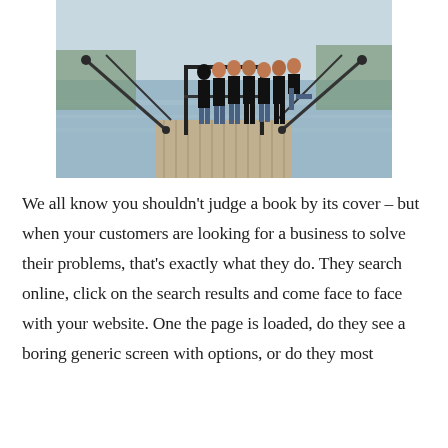[Figure (photo): A group of people standing on a wooden dock/pier near water, all wearing black tops. Metal railings are on both sides of the pier. Background shows a body of water and trees.]
We all know you shouldn't judge a book by its cover – but when your customers are looking for a business to solve their problems, that's exactly what they do. They search online, click on the search results and come face to face with your website. One the page is loaded, do they see a boring generic screen with options, or do they most